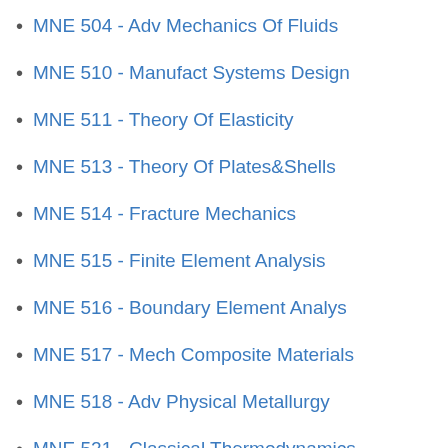MNE 504 - Adv Mechanics Of Fluids
MNE 510 - Manufact Systems Design
MNE 511 - Theory Of Elasticity
MNE 513 - Theory Of Plates&Shells
MNE 514 - Fracture Mechanics
MNE 515 - Finite Element Analysis
MNE 516 - Boundary Element Analys
MNE 517 - Mech Composite Materials
MNE 518 - Adv Physical Metallurgy
MNE 521 - Classical Thermodynamics
MNE 522 - Statistical Thermodynam